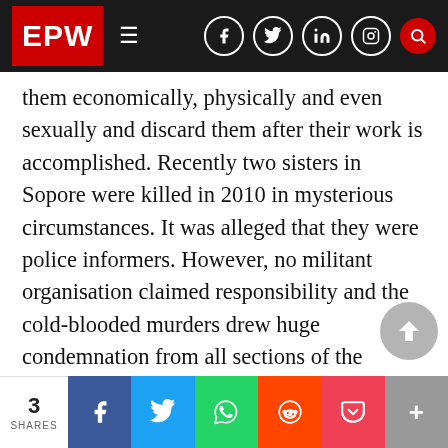EPW
them economically, physically and even sexually and discard them after their work is accomplished. Recently two sisters in Sopore were killed in 2010 in mysterious circumstances. It was alleged that they were police informers. However, no militant organisation claimed responsibility and the cold-blooded murders drew huge condemnation from all sections of the society. What is evident is that both the deceased were beautiful and very poor (Asif 2011).
The most infamous case of mass rape occurred at Kunanposhpora in the Kupwara district on 23 February 1991 when the 6th battalion of
3 SHARES | f | 🐦 | 💬 | 👽 | 🔖 | +